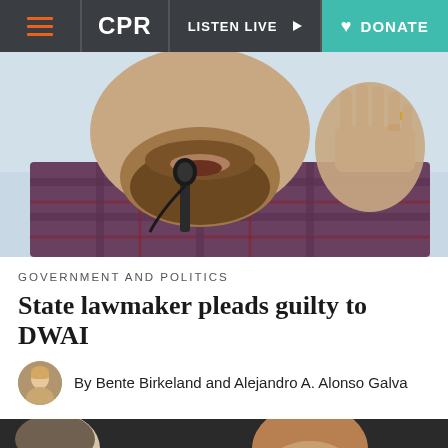CPR | LISTEN LIVE | DONATE
[Figure (photo): Close-up photo of a bearded man speaking into a microphone, wearing a plaid shirt, raising his hand with a ring visible]
GOVERNMENT AND POLITICS
State lawmaker pleads guilty to DWAI
By Bente Birkeland and Alejandro A. Alonso Galva
[Figure (photo): Photo of a smiling man with letters RKMEYER visible in background, another person partially visible on the left]